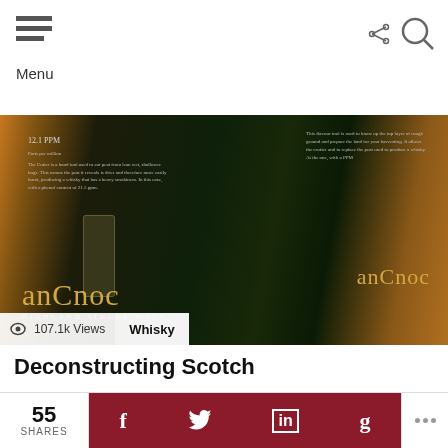Menu
[Figure (photo): Close-up photo of anCnoc Highland Single Malt whisky bottles with dark green labels showing text about peat cutting tools]
107.1k Views   Whisky
Deconstructing Scotch
[Figure (photo): Photo of a George A. Dickel & Co Tennessee whiskey visitor center building exterior with LOVE badge overlay]
55 SHARES f t in g ...